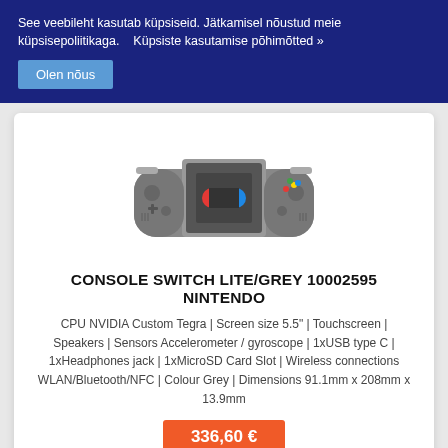See veebileht kasutab küpsiseid. Jätkamisel nõustud meie küpsisepoliitikaga.    Küpsiste kasutamise põhimõtted »
Olen nõus
[Figure (illustration): Nintendo Switch Lite handheld gaming console in grey color]
CONSOLE SWITCH LITE/GREY 10002595 NINTENDO
CPU NVIDIA Custom Tegra | Screen size 5.5" | Touchscreen | Speakers | Sensors Accelerometer / gyroscope | 1xUSB type C | 1xHeadphones jack | 1xMicroSD Card Slot | Wireless connections WLAN/Bluetooth/NFC | Colour Grey | Dimensions 91.1mm x 208mm x 13.9mm
336,60 €